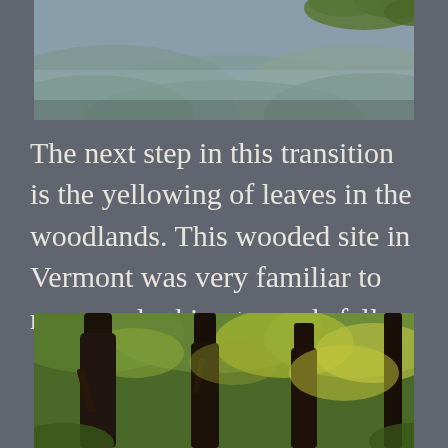[Figure (photo): Aerial or elevated view of misty forested hills and green leafy tree branches in the upper right corner, taken in overcast conditions with bluish-gray sky.]
The next step in this transition is the yellowing of leaves in the woodlands. This wooded site in Vermont was very familiar to my eyes looking towards fall.
[Figure (photo): Forest scene with tall dark tree trunks and green and yellow-green foliage suggesting early autumn transition in a Vermont woodland.]